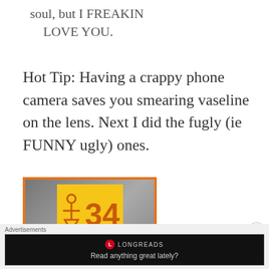soul, but I FREAKIN LOVE YOU.
Hot Tip: Having a crappy phone camera saves you smearing vaseline on the lens. Next I did the fugly (ie FUNNY ugly) ones.
[Figure (photo): Photo with orange border showing a person's head partially visible beside a yellow sign with a female figure icon and the number 34 in orange]
Advertisements
[Figure (screenshot): Longreads advertisement with logo and tagline 'Read anything great lately?']